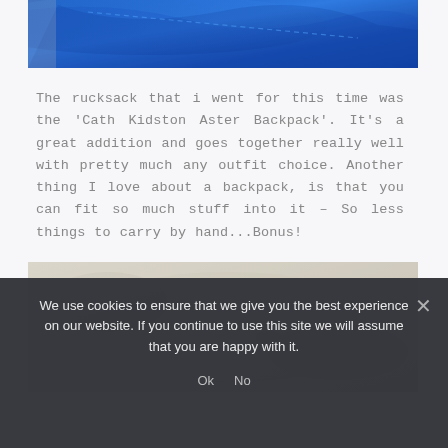[Figure (photo): Close-up photo of a blue fabric/backpack with stitching detail, cropped at top]
The rucksack that i went for this time was the 'Cath Kidston Aster Backpack'. It's a great addition and goes together really well with pretty much any outfit choice. Another thing I love about a backpack, is that you can fit so much stuff into it – So less things to carry by hand...Bonus!
[Figure (photo): Close-up photo of a light beige/cream suede fabric texture]
We use cookies to ensure that we give you the best experience on our website. If you continue to use this site we will assume that you are happy with it.
Ok   No